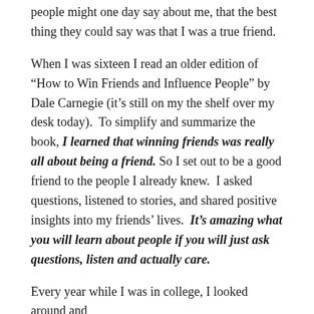people might one day say about me, that the best thing they could say was that I was a true friend.
When I was sixteen I read an older edition of “How to Win Friends and Influence People” by Dale Carnegie (it’s still on my the shelf over my desk today).  To simplify and summarize the book, I learned that winning friends was really all about being a friend. So I set out to be a good friend to the people I already knew.  I asked questions, listened to stories, and shared positive insights into my friends’ lives.  It’s amazing what you will learn about people if you will just ask questions, listen and actually care.
Every year while I was in college, I looked around and